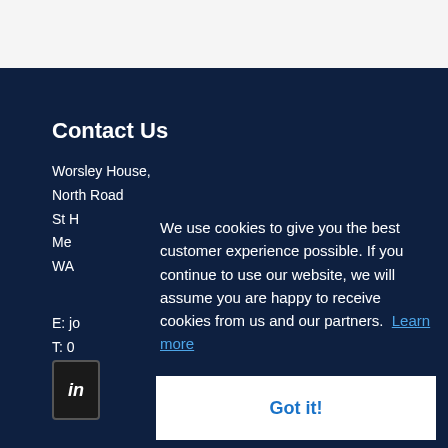Contact Us
Worsley House,
North Road
St H
Me
WA
E: jo
T: 0
[Figure (logo): LinkedIn icon/logo badge]
We use cookies to give you the best customer experience possible. If you continue to use our website, we will assume you are happy to receive cookies from us and our partners. Learn more
Got it!